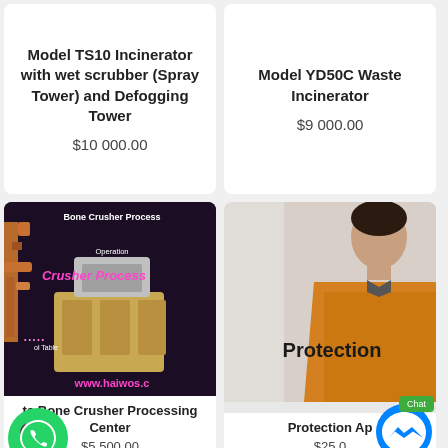Model TS10 Incinerator with wet scrubber (Spray Tower) and Defogging Tower
$10 000.00
Model YD50C Waste Incinerator
$9 000.00
[Figure (screenshot): Video thumbnail of Bone Crusher Process Operation showing industrial equipment with text 'Bone Crusher Process', 'Operation', 'Crusher Process', 'ol Table', 'www.haiwos.c' overlaid on dark background]
ts Bone Crusher Processing Center
$5 500.00
[Figure (photo): Photo of a person wearing an orange protective jacket/apron, with text 'Protection' overlaid]
Protection Ap
$25.0